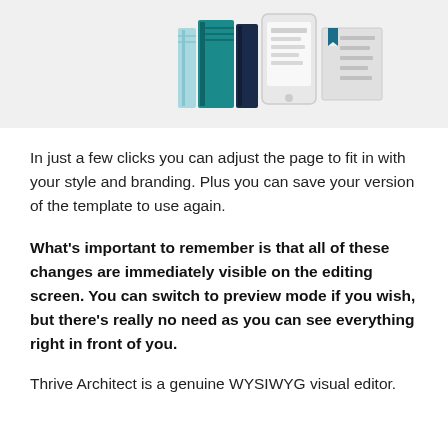[Figure (illustration): Flat design illustration showing books, a smartphone, and a bookmarked reading list on a light grey background]
In just a few clicks you can adjust the page to fit in with your style and branding. Plus you can save your version of the template to use again.
What's important to remember is that all of these changes are immediately visible on the editing screen. You can switch to preview mode if you wish, but there's really no need as you can see everything right in front of you.
Thrive Architect is a genuine WYSIWYG visual editor.